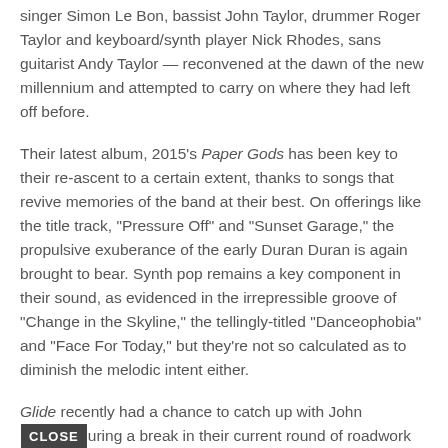singer Simon Le Bon, bassist John Taylor, drummer Roger Taylor and keyboard/synth player Nick Rhodes, sans guitarist Andy Taylor — reconvened at the dawn of the new millennium and attempted to carry on where they had left off before.
Their latest album, 2015's Paper Gods has been key to their re-ascent to a certain extent, thanks to songs that revive memories of the band at their best. On offerings like the title track, "Pressure Off" and "Sunset Garage," the propulsive exuberance of the early Duran Duran is again brought to bear. Synth pop remains a key component in their sound, as evidenced in the irrepressible groove of "Change in the Skyline," the tellingly-titled "Danceophobia" and "Face For Today," but they're not so calculated as to diminish the melodic intent either.
Glide recently had a chance to catch up with John [CLOSE] uring a break in their current round of roadwork promoting the current album.